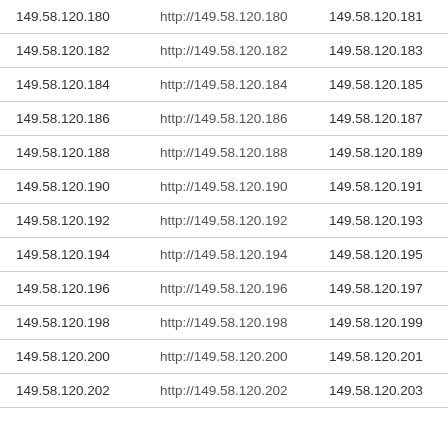| 149.58.120.180 | http://149.58.120.180 | 149.58.120.181 | http:// |
| 149.58.120.182 | http://149.58.120.182 | 149.58.120.183 | http:// |
| 149.58.120.184 | http://149.58.120.184 | 149.58.120.185 | http:// |
| 149.58.120.186 | http://149.58.120.186 | 149.58.120.187 | http:// |
| 149.58.120.188 | http://149.58.120.188 | 149.58.120.189 | http:// |
| 149.58.120.190 | http://149.58.120.190 | 149.58.120.191 | http:// |
| 149.58.120.192 | http://149.58.120.192 | 149.58.120.193 | http:// |
| 149.58.120.194 | http://149.58.120.194 | 149.58.120.195 | http:// |
| 149.58.120.196 | http://149.58.120.196 | 149.58.120.197 | http:// |
| 149.58.120.198 | http://149.58.120.198 | 149.58.120.199 | http:// |
| 149.58.120.200 | http://149.58.120.200 | 149.58.120.201 | http:// |
| 149.58.120.202 | http://149.58.120.202 | 149.58.120.203 | http:// |